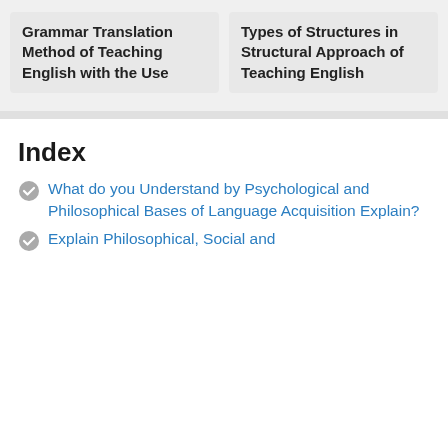Grammar Translation Method of Teaching English with the Use
Types of Structures in Structural Approach of Teaching English
Index
What do you Understand by Psychological and Philosophical Bases of Language Acquisition Explain?
Explain Philosophical, Social and